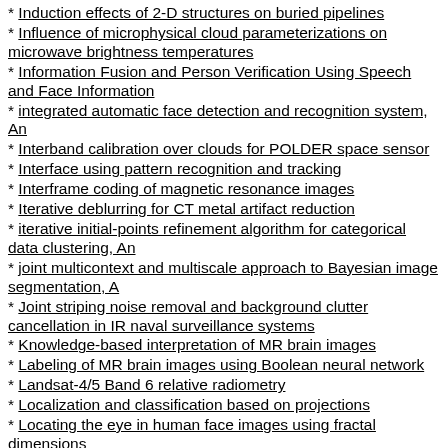Induction effects of 2-D structures on buried pipelines
Influence of microphysical cloud parameterizations on microwave brightness temperatures
Information Fusion and Person Verification Using Speech and Face Information
integrated automatic face detection and recognition system, An
Interband calibration over clouds for POLDER space sensor
Interface using pattern recognition and tracking
Interframe coding of magnetic resonance images
Iterative deblurring for CT metal artifact reduction
iterative initial-points refinement algorithm for categorical data clustering, An
joint multicontext and multiscale approach to Bayesian image segmentation, A
Joint striping noise removal and background clutter cancellation in IR naval surveillance systems
Knowledge-based interpretation of MR brain images
Labeling of MR brain images using Boolean neural network
Landsat-4/5 Band 6 relative radiometry
Localization and classification based on projections
Locating the eye in human face images using fractal dimensions
MAP-Based Stochastic Diffusion for Stereo Matching and Motion Field Estimation